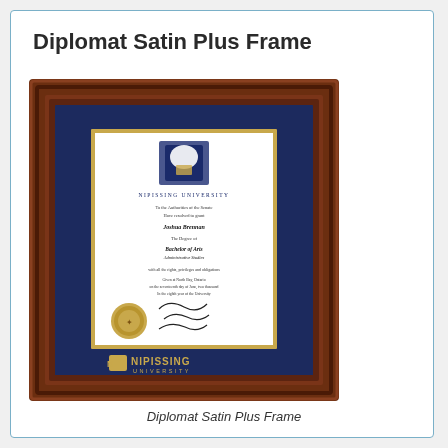Diplomat Satin Plus Frame
[Figure (photo): A framed Nipissing University diploma displayed in a dark mahogany-colored 'Diplomat Satin Plus Frame' with dark navy blue matting and gold trim. The frame features a diploma inside and gold 'NIPISSING UNIVERSITY' text and logo at the bottom of the mat.]
Diplomat Satin Plus Frame